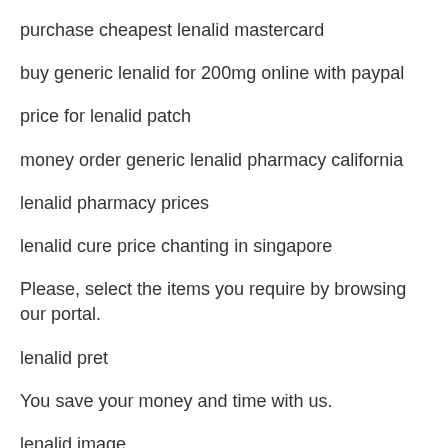purchase cheapest lenalid mastercard
buy generic lenalid for 200mg online with paypal
price for lenalid patch
money order generic lenalid pharmacy california
lenalid pharmacy prices
lenalid cure price chanting in singapore
Please, select the items you require by browsing our portal.
lenalid pret
You save your money and time with us.
lenalid image
lenalid medicine where to purchase online pharmacy